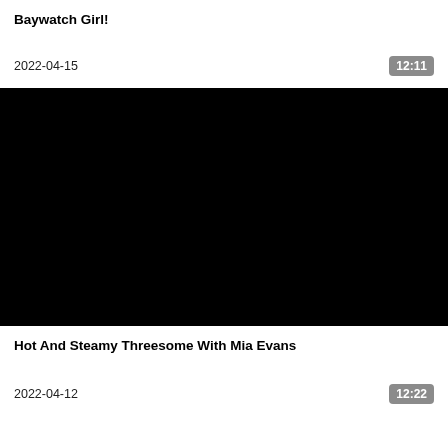Baywatch Girl!
2022-04-15
12:11
[Figure (screenshot): Black video thumbnail placeholder]
Hot And Steamy Threesome With Mia Evans
2022-04-12
12:22